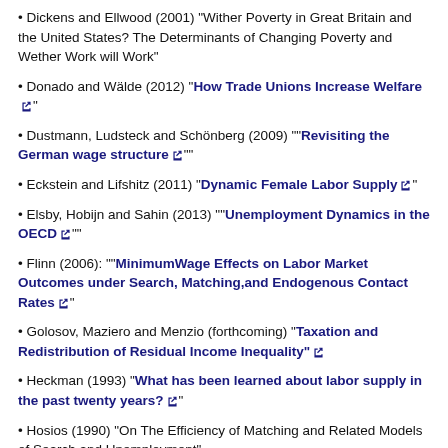Dickens and Ellwood (2001) "Wither Poverty in Great Britain and the United States? The Determinants of Changing Poverty and Wether Work will Work"
Donado and Wälde (2012) "How Trade Unions Increase Welfare" [link]
Dustmann, Ludsteck and Schönberg (2009) ""Revisiting the German wage structure" [link]"
Eckstein and Lifshitz (2011) "Dynamic Female Labor Supply" [link]
Elsby, Hobijn and Sahin (2013) ""Unemployment Dynamics in the OECD" [link]"
Flinn (2006): ""MinimumWage Effects on Labor Market Outcomes under Search, Matching,and Endogenous Contact Rates" [link]"
Golosov, Maziero and Menzio (forthcoming) "Taxation and Redistribution of Residual Income Inequality" [link]
Heckman (1993) "What has been learned about labor supply in the past twenty years?" [link]"
Hosios (1990) "On The Efficiency of Matching and Related Models of Search and Unemployment"
Huggett, Ventura and Yaron (2011) "Sources of Lifetime Inequality" [link]
Jaumotte and Tytell (2007) "The Globalization of Labor" [link] in World